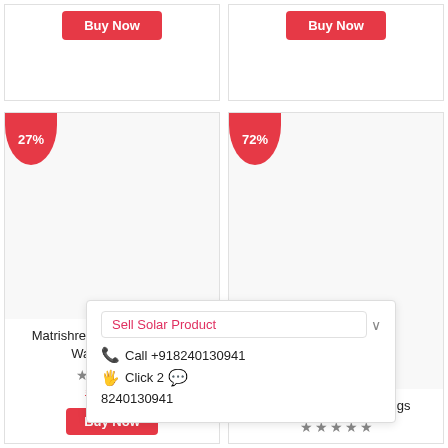[Figure (screenshot): Top partial product card left with Buy Now button]
[Figure (screenshot): Top partial product card right with Buy Now button]
[Figure (screenshot): Product card: Matrishree Green Solar 330 Watt Solar P... with 27% badge, stars, price ₹15000]
Matrishree Green Solar 330 Watt Solar P...
★★★☆☆
₹15000
Buy Now
[Figure (screenshot): Product card: Cream Churidar Leggings with 72% badge, stars]
Cream Churidar Leggings
★★★★★
Sell Solar Product  ∨
📞 Call +918240130941
🖐 Click 2 💬
8240130941